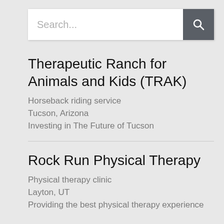[Figure (screenshot): Search bar with text input placeholder 'Search...' and a dark grey search button with magnifying glass icon]
Therapeutic Ranch for Animals and Kids (TRAK)
Horseback riding service
Tucson, Arizona
Investing in The Future of Tucson
Rock Run Physical Therapy
Physical therapy clinic
Layton, UT
Providing the best physical therapy experience